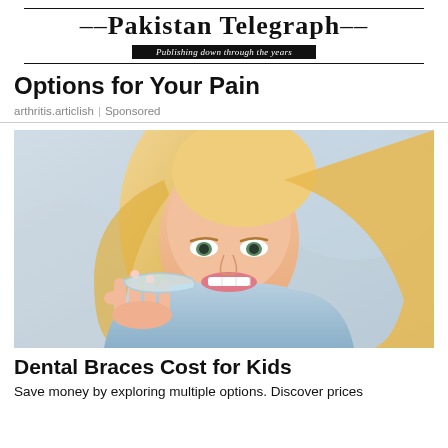Pakistan Telegraph — Publishing down through the years
Options for Your Pain
arthritis.articlish | Sponsored
[Figure (photo): Smiling blonde woman holding a clear dental aligner/brace tray up to her mouth, wearing a light blue top, photographed close-up against a light background.]
Dental Braces Cost for Kids
Save money by exploring multiple options. Discover prices